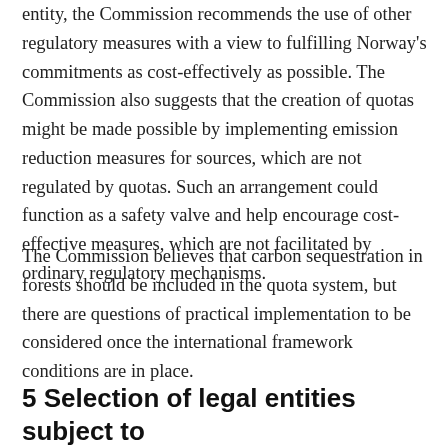entity, the Commission recommends the use of other regulatory measures with a view to fulfilling Norway's commitments as cost-effectively as possible. The Commission also suggests that the creation of quotas might be made possible by implementing emission reduction measures for sources, which are not regulated by quotas. Such an arrangement could function as a safety valve and help encourage cost-effective measures, which are not facilitated by ordinary regulatory mechanisms.
The Commission believes that carbon sequestration in forests should be included in the quota system, but there are questions of practical implementation to be considered once the international framework conditions are in place.
5 Selection of legal entities subject to regulation by quota